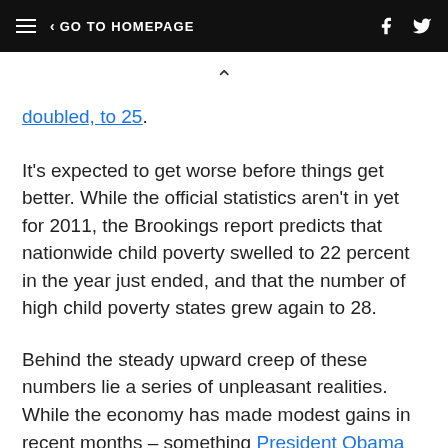≡ < GO TO HOMEPAGE
doubled, to 25.
It's expected to get worse before things get better. While the official statistics aren't in yet for 2011, the Brookings report predicts that nationwide child poverty swelled to 22 percent in the year just ended, and that the number of high child poverty states grew again to 28.
Behind the steady upward creep of these numbers lie a series of unpleasant realities. While the economy has made modest gains in recent months – something President Obama